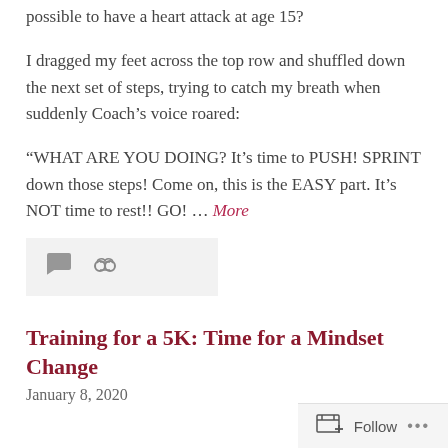possible to have a heart attack at age 15?
I dragged my feet across the top row and shuffled down the next set of steps, trying to catch my breath when suddenly Coach's voice roared:
“WHAT ARE YOU DOING? It’s time to PUSH! SPRINT down those steps! Come on, this is the EASY part. It’s NOT time to rest!! GO! … More
[Figure (other): Comment icon and link icon meta bar]
Training for a 5K: Time for a Mindset Change
January 8, 2020
[Figure (other): Follow button bar with follow icon, Follow text, and ellipsis dots]